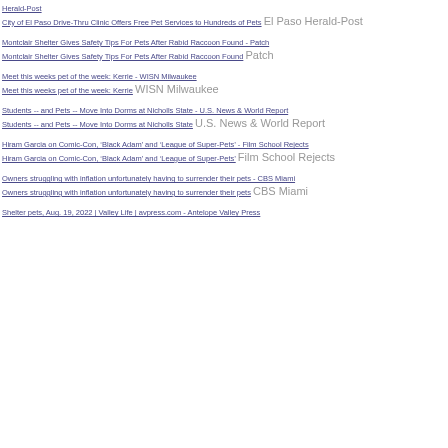Herald-Post
City of El Paso Drive-Thru Clinic Offers Free Pet Services to Hundreds of Pets   El Paso Herald-Post
Montclair Shelter Gives Safety Tips For Pets After Rabid Raccoon Found - Patch
Montclair Shelter Gives Safety Tips For Pets After Rabid Raccoon Found   Patch
Meet this weeks pet of the week: Kerrie - WISN Milwaukee
Meet this weeks pet of the week: Kerrie   WISN Milwaukee
Students -- and Pets -- Move Into Dorms at Nicholls State - U.S. News & World Report
Students -- and Pets -- Move Into Dorms at Nicholls State   U.S. News & World Report
Hiram Garcia on Comic-Con, ‘Black Adam’ and ‘League of Super-Pets’ - Film School Rejects
Hiram Garcia on Comic-Con, ‘Black Adam’ and ‘League of Super-Pets’   Film School Rejects
Owners struggling with inflation unfortunately having to surrender their pets - CBS Miami
Owners struggling with inflation unfortunately having to surrender their pets   CBS Miami
Shelter pets, Aug. 19, 2022 | Valley Life | avpress.com - Antelope Valley Press